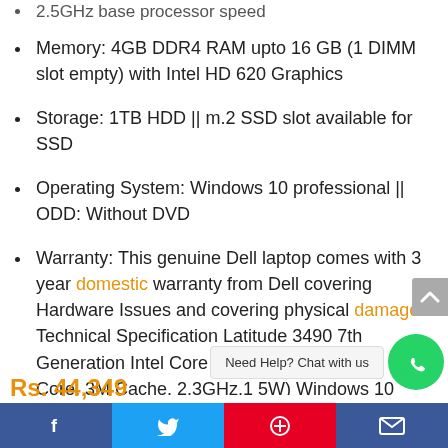2.5GHz base processor speed
Memory: 4GB DDR4 RAM upto 16 GB (1 DIMM slot empty) with Intel HD 620 Graphics
Storage: 1TB HDD || m.2 SSD slot available for SSD
Operating System: Windows 10 professional || ODD: Without DVD
Warranty: This genuine Dell laptop comes with 3 year domestic warranty from Dell covering Hardware Issues and covering physical damage Technical Specification Latitude 3490 7th Generation Intel Core – i3 Processor 7020u (Dual Core, 3M Cache, 2.3GHz,1 5W) Windows 10 professional 4GB (4G... DDR4 2400 M... supporting up to 16GB Integrated with the
Rs. 44,349